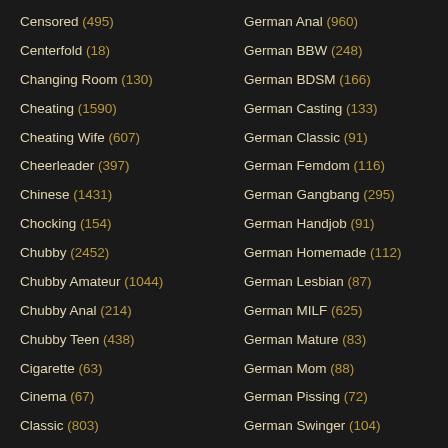Censored (495)
Centerfold (18)
Changing Room (130)
Cheating (1590)
Cheating Wife (607)
Cheerleader (397)
Chinese (1431)
Chocking (154)
Chubby (2452)
Chubby Amateur (1044)
Chubby Anal (214)
Chubby Teen (438)
Cigarette (63)
Cinema (67)
Classic (803)
Classroom (110)
German Anal (960)
German BBW (248)
German BDSM (166)
German Casting (133)
German Classic (91)
German Femdom (116)
German Gangbang (295)
German Handjob (91)
German Homemade (112)
German Lesbian (87)
German MILF (625)
German Mature (83)
German Mom (88)
German Pissing (72)
German Swinger (104)
German Teen (821)